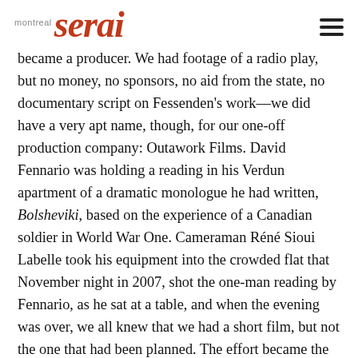montreal serai
became a producer. We had footage of a radio play, but no money, no sponsors, no aid from the state, no documentary script on Fessenden's work—we did have a very apt name, though, for our one-off production company: Outawork Films. David Fennario was holding a reading in his Verdun apartment of a dramatic monologue he had written, Bolsheviki, based on the experience of a Canadian soldier in World War One. Cameraman Réné Sioui Labelle took his equipment into the crowded flat that November night in 2007, shot the one-man reading by Fennario, as he sat at a table, and when the evening was over, we all knew that we had a short film, but not the one that had been planned. The effort became the 41-minute Fennario's War, now a part of the Hot Docs library of Canadian Documentary...